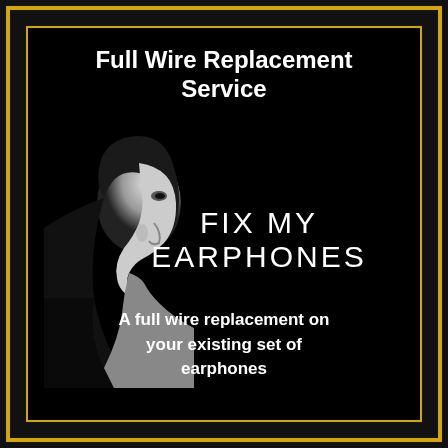Full Wire Replacement Service
[Figure (illustration): Black and white silhouette profile of a woman facing right with dark hair, on a black background]
FIX MY EARPHONES
A full wire replacement on your existing set of earphones